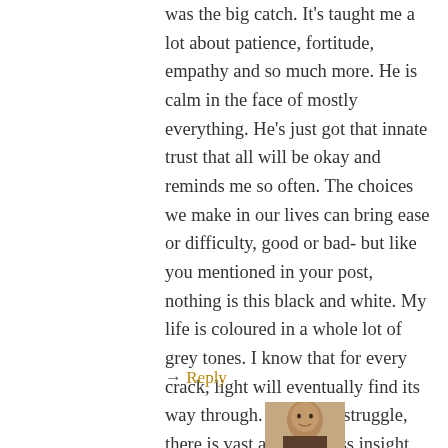was the big catch. It's taught me a lot about patience, fortitude, empathy and so much more. He is calm in the face of mostly everything. He's just got that innate trust that all will be okay and reminds me so often. The choices we make in our lives can bring ease or difficulty, good or bad- but like you mentioned in your post, nothing is this black and white. My life is coloured in a whole lot of grey tones. I know that for every crack, light will eventually find its way through. For every struggle, there is vast and priceless insight gained.
→ Reply
[Figure (photo): Small avatar photo of a man, partially visible at bottom of page]